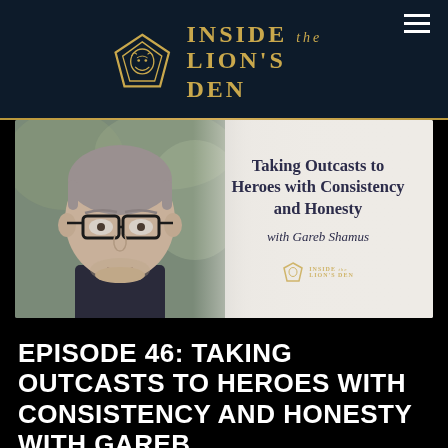INSIDE the LION'S DEN
[Figure (photo): Podcast episode cover image showing a middle-aged man with glasses and short hair on the left, with text overlay on the right reading 'Taking Outcasts to Heroes with Consistency and Honesty with Gareb Shamus' and a small Inside the Lion's Den logo.]
EPISODE 46: TAKING OUTCASTS TO HEROES WITH CONSISTENCY AND HONESTY WITH GAREB